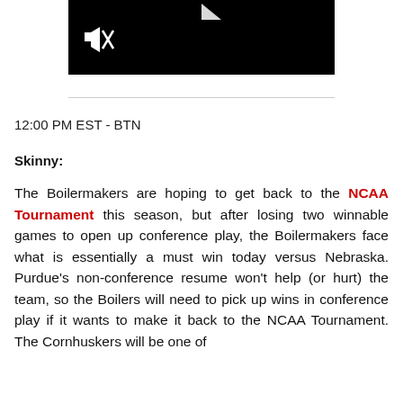[Figure (screenshot): A black video player thumbnail with a mute icon in the lower left and a play button triangle at the top center.]
12:00 PM EST - BTN
Skinny:
The Boilermakers are hoping to get back to the NCAA Tournament this season, but after losing two winnable games to open up conference play, the Boilermakers face what is essentially a must win today versus Nebraska. Purdue's non-conference resume won't help (or hurt) the team, so the Boilers will need to pick up wins in conference play if it wants to make it back to the NCAA Tournament. The Cornhuskers will be one of